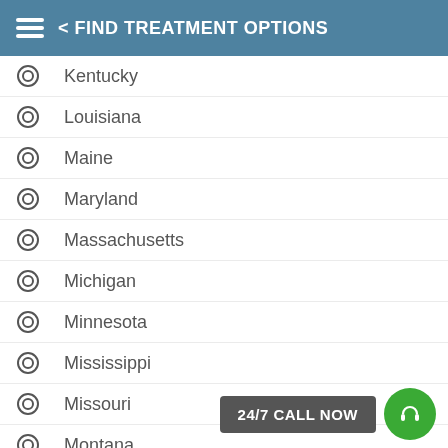< FIND TREATMENT OPTIONS
Kentucky
Louisiana
Maine
Maryland
Massachusetts
Michigan
Minnesota
Mississippi
Missouri
Montana
Nebraska
Nevada
New Hampshire
24/7 CALL NOW